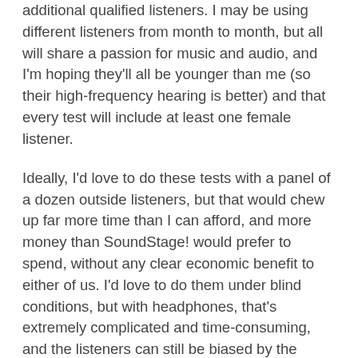additional qualified listeners. I may be using different listeners from month to month, but all will share a passion for music and audio, and I'm hoping they'll all be younger than me (so their high-frequency hearing is better) and that every test will include at least one female listener.
Ideally, I'd love to do these tests with a panel of a dozen outside listeners, but that would chew up far more time than I can afford, and more money than SoundStage! would prefer to spend, without any clear economic benefit to either of us. I'd love to do them under blind conditions, but with headphones, that's extremely complicated and time-consuming, and the listeners can still be biased by the weight and feel of the headphones.
My “gold standard” for audio product reviews has always been double-blind tests with a dozen